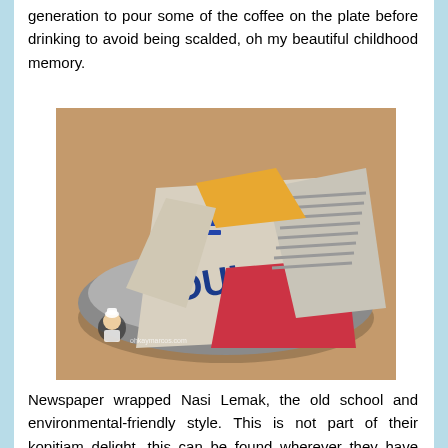generation to pour some of the coffee on the plate before drinking to avoid being scalded, oh my beautiful childhood memory.
[Figure (photo): Newspaper wrapped Nasi Lemak parcels arranged in a metal plate/bowl, showing colorful newspaper print including what appears to be the word 'DUI', with a small cartoon chef avatar watermark in the bottom left corner.]
Newspaper wrapped Nasi Lemak, the old school and environmental-friendly style. This is not part of their kopitiam delight, this can be found wherever they have consignment to the shop. I just took it because southern Nasi Lemak is unique to me from other part of Malaysia, their sambal is separate by banana leaf. Beside that, I found it much comfortable for those who does not